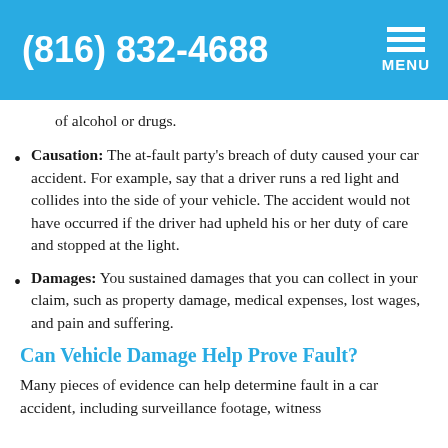(816) 832-4688 MENU
of alcohol or drugs.
Causation: The at-fault party's breach of duty caused your car accident. For example, say that a driver runs a red light and collides into the side of your vehicle. The accident would not have occurred if the driver had upheld his or her duty of care and stopped at the light.
Damages: You sustained damages that you can collect in your claim, such as property damage, medical expenses, lost wages, and pain and suffering.
Can Vehicle Damage Help Prove Fault?
Many pieces of evidence can help determine fault in a car accident, including surveillance footage, witness